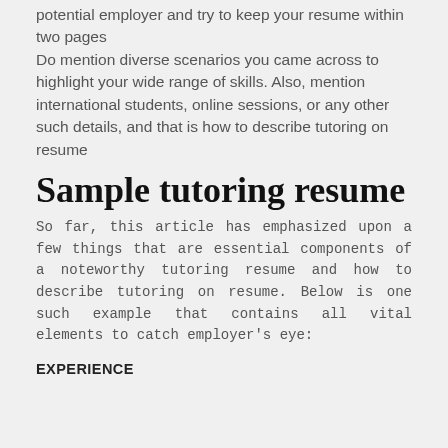potential employer and try to keep your resume within two pages
Do mention diverse scenarios you came across to highlight your wide range of skills. Also, mention international students, online sessions, or any other such details, and that is how to describe tutoring on resume
Sample tutoring resume
So far, this article has emphasized upon a few things that are essential components of a noteworthy tutoring resume and how to describe tutoring on resume. Below is one such example that contains all vital elements to catch employer's eye:
EXPERIENCE